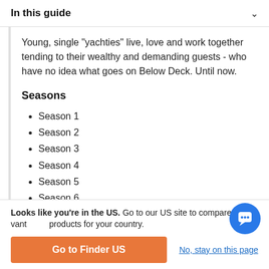In this guide
Young, single "yachties" live, love and work together tending to their wealthy and demanding guests - who have no idea what goes on Below Deck. Until now.
Seasons
Season 1
Season 2
Season 3
Season 4
Season 5
Season 6
Looks like you're in the US. Go to our US site to compare relevant products for your country.
Go to Finder US
No, stay on this page